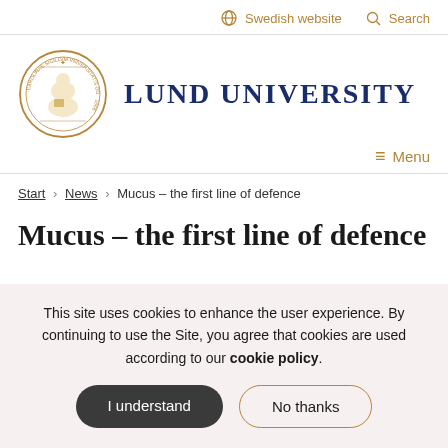Swedish website   Search
[Figure (logo): Lund University circular seal/crest in gold, with Latin text around the border and a seated figure in the center]
Lund University
≡ Menu
Start › News › Mucus – the first line of defence
Mucus – the first line of defence
This site uses cookies to enhance the user experience. By continuing to use the Site, you agree that cookies are used according to our cookie policy.
I understand
No thanks